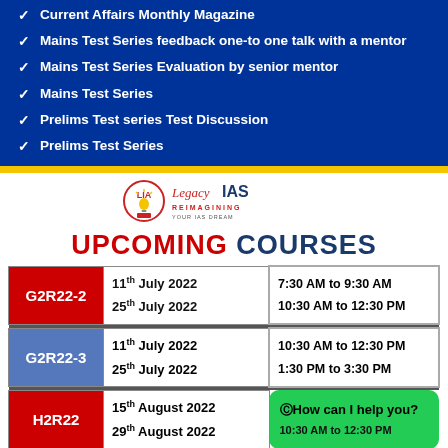Current Affairs Monthly Magazine
Mains Test Series feedback one-to one talk with a mentor
Mains Test Series Evaluation by senior mentor
Mains Test Series
Prelims Test series Test Discussion
Prelims Test Series
[Figure (logo): Legacy IAS logo with LIA emblem and tagline REIMAGINING IAS]
UPCOMING COURSES
| Batch | Dates | Timings |
| --- | --- | --- |
| G2R22-2 | 11th July 2022 / 25th July 2022 | 7:30 AM to 9:30 AM / 10:30 AM to 12:30 PM |
| G2R22-3 | 11th July 2022 / 25th July 2022 | 10:30 AM to 12:30 PM / 1:30 PM to 3:30 PM |
| H2R22 | 15th August 2022 / 29th August 2022 | 10:30 AM to 12:30 PM |